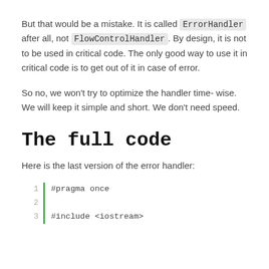But that would be a mistake. It is called ErrorHandler after all, not FlowControlHandler. By design, it is not to be used in critical code. The only good way to use it in critical code is to get out of it in case of error.
So no, we won't try to optimize the handler time-wise. We will keep it simple and short. We don't need speed.
The full code
Here is the last version of the error handler:
[Figure (screenshot): Code block showing lines 1, 2, 3 with a green left border. Line 1: #pragma once, Line 2: (empty), Line 3: #include <iostream>]